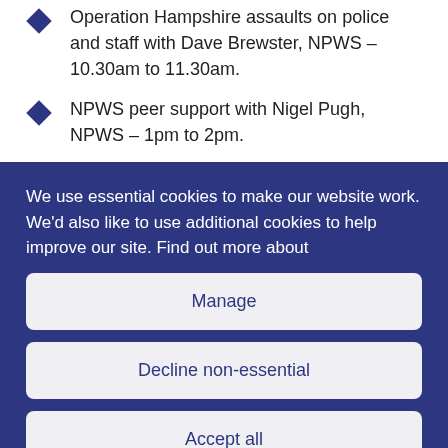Operation Hampshire assaults on police and staff with Dave Brewster, NPWS – 10.30am to 11.30am.
NPWS peer support with Nigel Pugh, NPWS – 1pm to 2pm.
We use essential cookies to make our website work. We'd also like to use additional cookies to help improve our site. Find out more about
Manage
Decline non-essential
Accept all